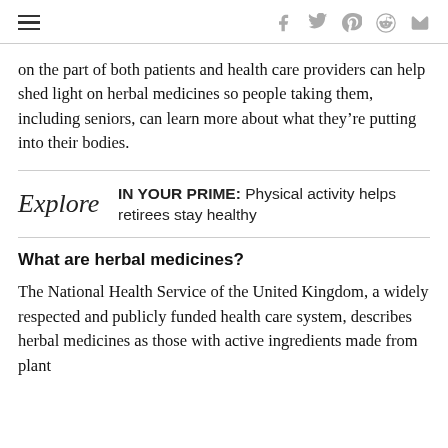☰  f  twitter  pinterest  reddit  mail
on the part of both patients and health care providers can help shed light on herbal medicines so people taking them, including seniors, can learn more about what they're putting into their bodies.
Explore  IN YOUR PRIME: Physical activity helps retirees stay healthy
What are herbal medicines?
The National Health Service of the United Kingdom, a widely respected and publicly funded health care system, describes herbal medicines as those with active ingredients made from plant